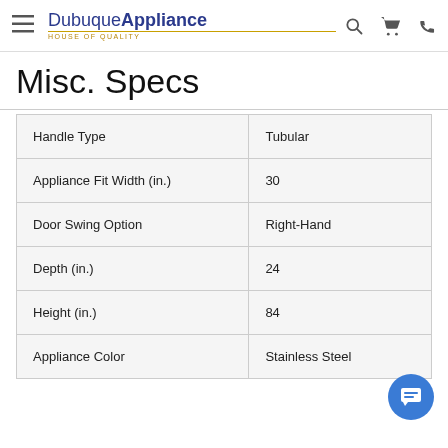Dubuque Appliance HOUSE OF QUALITY
Misc. Specs
| Spec | Value |
| --- | --- |
| Handle Type | Tubular |
| Appliance Fit Width (in.) | 30 |
| Door Swing Option | Right-Hand |
| Depth (in.) | 24 |
| Height (in.) | 84 |
| Appliance Color | Stainless Steel |